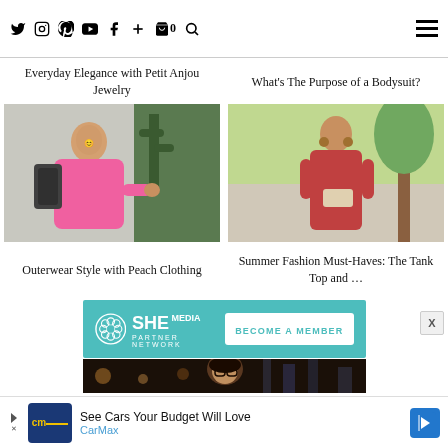Social media nav icons, cart (0), search, hamburger menu
Everyday Elegance with Petit Anjou Jewelry
What's The Purpose of a Bodysuit?
[Figure (photo): Woman in pink jacket with backpack near a cactus plant]
[Figure (photo): Woman in red/coral sleeveless dress holding a clutch, outdoors]
Outerwear Style with Peach Clothing
Summer Fashion Must-Haves: The Tank Top and ...
[Figure (logo): SHE Media Partner Network banner - BECOME A MEMBER button]
[Figure (photo): Woman with glasses smiling, partial view]
See Cars Your Budget Will Love
CarMax